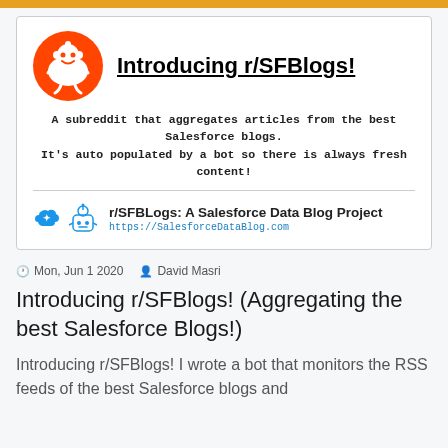[Figure (illustration): Orange/amber horizontal bar at top of page]
[Figure (illustration): Card with Reddit alien logo, title 'Introducing r/SFBlogs!', descriptive text, divider, and footer with Salesforce/robot icons and blog project info]
Mon, Jun 1 2020  David Masri
Introducing r/SFBlogs! (Aggregating the best Salesforce Blogs!)
Introducing r/SFBlogs! I wrote a bot that monitors the RSS feeds of the best Salesforce blogs and